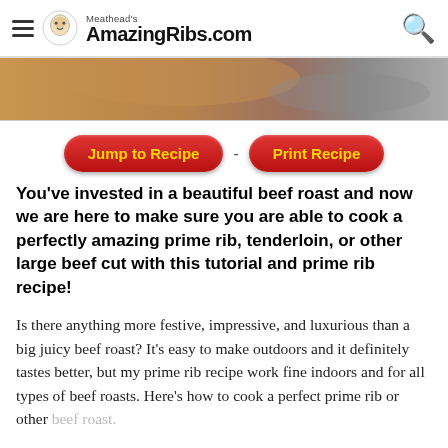Meathead's AmazingRibs.com
[Figure (photo): Partial photo of a beef roast, cropped at top]
Jump to Recipe  -  Print Recipe
You've invested in a beautiful beef roast and now we are here to make sure you are able to cook a perfectly amazing prime rib, tenderloin, or other large beef cut with this tutorial and prime rib recipe!
Is there anything more festive, impressive, and luxurious than a big juicy beef roast? It's easy to make outdoors and it definitely tastes better, but my prime rib recipe work fine indoors and for all types of beef roasts. Here's how to cook a perfect prime rib or other beef roast.